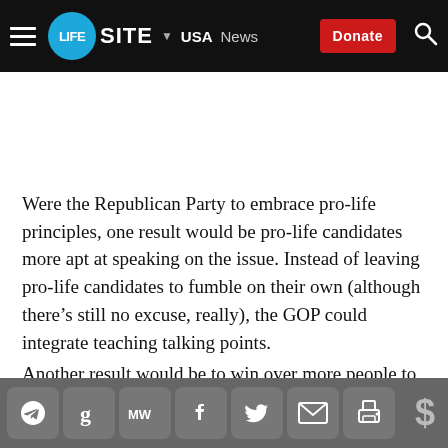LIFESITE | USA | News | Donate
Were the Republican Party to embrace pro-life principles, one result would be pro-life candidates more apt at speaking on the issue. Instead of leaving pro-life candidates to fumble on their own (although there’s still no excuse, really), the GOP could integrate teaching talking points.
Another result would be to win over more people to
Social share icons: Telegram, Google, MeWe, Facebook, Twitter, Email, Print | Donate ($)